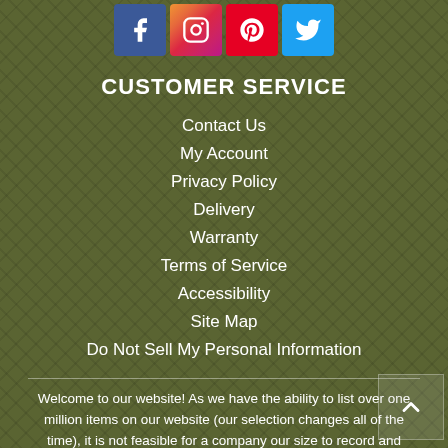[Figure (infographic): Social media icons: Facebook (blue), Instagram (gradient), Pinterest (red), Twitter (light blue)]
CUSTOMER SERVICE
Contact Us
My Account
Privacy Policy
Delivery
Warranty
Terms of Service
Accessibility
Site Map
Do Not Sell My Personal Information
Welcome to our website! As we have the ability to list over one million items on our website (our selection changes all of the time), it is not feasible for a company our size to record and playback the descriptions on every item on our website. However, if you have a disability we are here to help you. Please call our disability services phone line at (228) 432-2525 during regular business hours and one of our kind and friendly personal shoppers will help you navigate through our website, help conduct advanced searches, help you